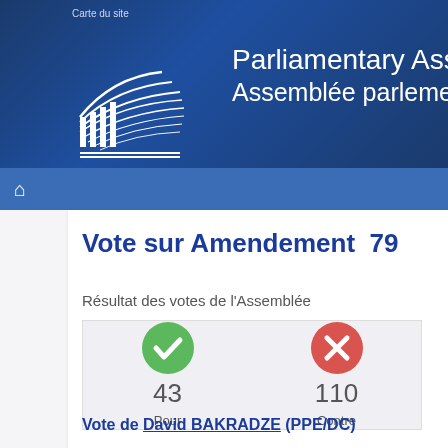Carte du site
[Figure (logo): Parliamentary Assembly / Assemblée parlementaire logo with abstract building/arcs graphic on dark blue background]
Vote sur Amendement  79
Résultat des votes de l'Assemblée
| Pour | Contre |
| --- | --- |
| 43 | 110 |
Vote de David BAKRADZE (PPE/DC)